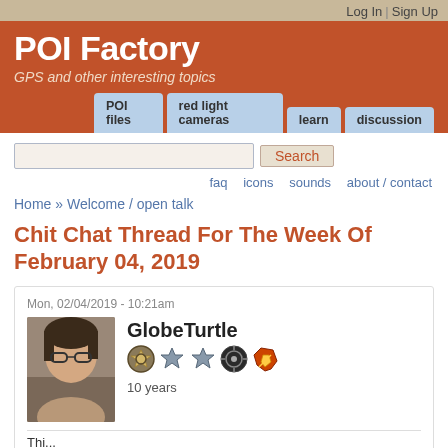Log In | Sign Up
POI Factory
GPS and other interesting topics
POI files | red light cameras | learn | discussion
Search
faq  icons  sounds  about / contact
Home » Welcome / open talk
Chit Chat Thread For The Week Of February 04, 2019
Mon, 02/04/2019 - 10:21am
GlobeTurtle
10 years
Thi...